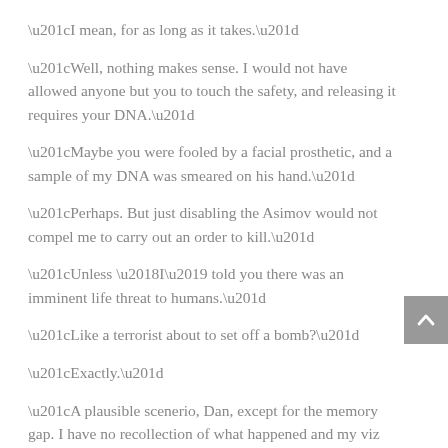“I mean, for as long as it takes.”
“Well, nothing makes sense. I would not have allowed anyone but you to touch the safety, and releasing it requires your DNA.”
“Maybe you were fooled by a facial prosthetic, and a sample of my DNA was smeared on his hand.”
“Perhaps. But just disabling the Asimov would not compel me to carry out an order to kill.”
“Unless ‘I’ told you there was an imminent life threat to humans.”
“Like a terrorist about to set off a bomb?”
“Exactly.”
“A plausible scenerio, Dan, except for the memory gap. I have no recollection of what happened and my viz was not recording.”